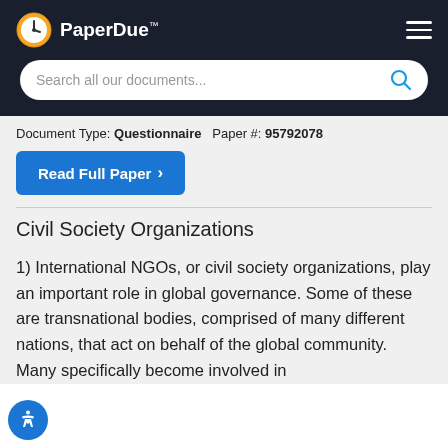PaperDue™
Document Type: Questionnaire   Paper #: 95792078
Read Full Paper ›
Civil Society Organizations
1) International NGOs, or civil society organizations, play an important role in global governance. Some of these are transnational bodies, comprised of many different nations, that act on behalf of the global community. Many specifically become involved in